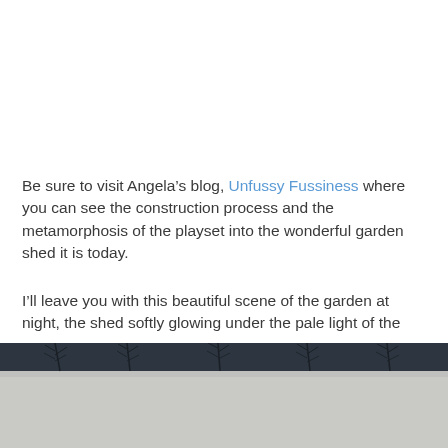Be sure to visit Angela's blog, Unfussy Fussiness where you can see the construction process and the metamorphosis of the playset into the wonderful garden shed it is today.
I'll leave you with this beautiful scene of the garden at night, the shed softly glowing under the pale light of the moon.
~~~BIG SIGH~~~
[Figure (photo): Night garden scene showing dark sky with bare tree silhouettes at the top and a pale light-colored ground (possibly snow) at the bottom.]